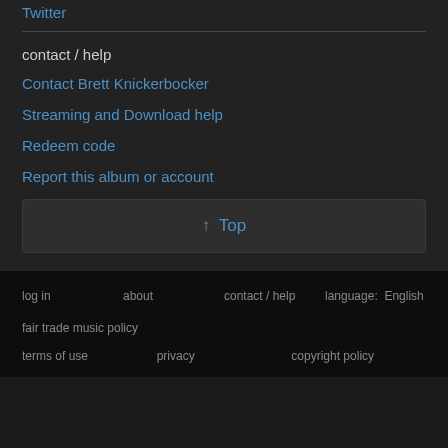Twitter
contact / help
Contact Brett Knickerbocker
Streaming and Download help
Redeem code
Report this album or account
↑ Top
log in   about   contact / help   language: English   fair trade music policy   terms of use   privacy   copyright policy